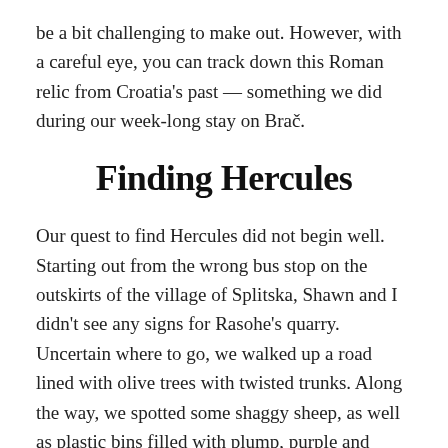be a bit challenging to make out. However, with a careful eye, you can track down this Roman relic from Croatia's past — something we did during our week-long stay on Brač.
Finding Hercules
Our quest to find Hercules did not begin well. Starting out from the wrong bus stop on the outskirts of the village of Splitska, Shawn and I didn't see any signs for Rasohe's quarry. Uncertain where to go, we walked up a road lined with olive trees with twisted trunks. Along the way, we spotted some shaggy sheep, as well as plastic bins filled with plump, purple and green olives. A cloudless sky and a cobalt-blue Adriatic Sea framed this timeless Mediterranean scene.
By chance, we stumbled upon the ruined walls of the 6th-